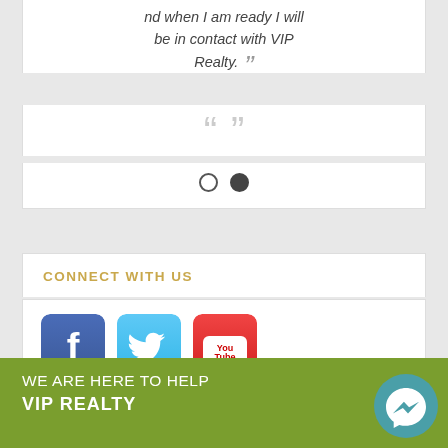nd when I am ready I will be in contact with VIP Realty.
[Figure (illustration): Decorative closing and opening quotation marks in light gray]
[Figure (illustration): Carousel pagination dots: one empty circle and one filled circle]
CONNECT WITH US
[Figure (illustration): Social media icons: Facebook (blue), Twitter (light blue), YouTube (red)]
WE ARE HERE TO HELP
VIP REALTY
[Figure (illustration): Messenger chat bubble icon in teal circle]